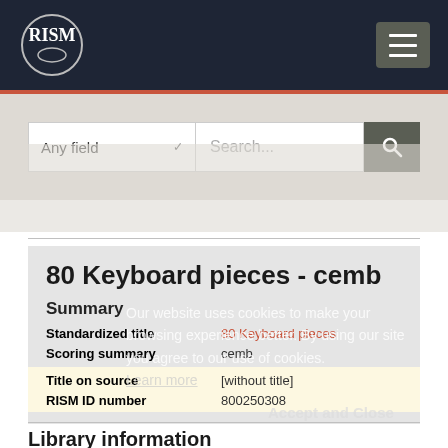[Figure (logo): RISM logo - circle with RISM text in white on dark navy background]
[Figure (screenshot): Hamburger menu icon button (three horizontal lines) on dark gray background]
[Figure (screenshot): Search bar with 'Any field' dropdown and 'Search...' placeholder input, and search button]
80 Keyboard pieces - cemb
Our website uses cookies to make your browsing experience better. By using our site you agree to our use of cookies.
Learn more
Accept and Close
Summary
| Field | Value |
| --- | --- |
| Standardized title | 80 Keyboard pieces |
| Scoring summary | cemb |
| Title on source | [without title] |
| RISM ID number | 800250308 |
Library information